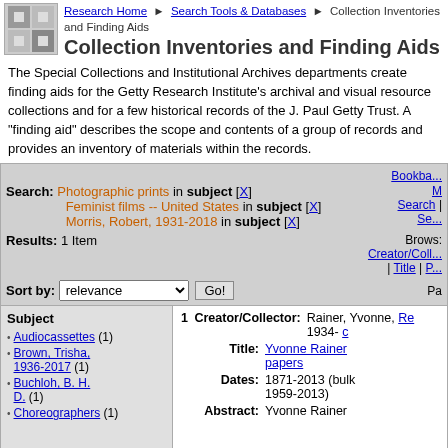Research Home > Search Tools & Databases > Collection Inventories and Finding Aids
Collection Inventories and Finding Aids
The Special Collections and Institutional Archives departments create finding aids for the Getty Research Institute's archival and visual resource collections and for a few historical records of the J. Paul Getty Trust. A "finding aid" describes the scope and contents of a group of records and provides an inventory of materials within the records.
Search: Photographic prints in subject [X] Feminist films -- United States in subject [X] Morris, Robert, 1931-2018 in subject [X]
Results: 1 Item
Sort by: relevance Go!
Subject
Audiocassettes (1)
Brown, Trisha, 1936-2017 (1)
Buchloh, B. H. D. (1)
Choreographers (1)
1 Creator/Collector: Rainer, Yvonne, 1934-
Title: Yvonne Rainer papers
Dates: 1871-2013 (bulk 1959-2013)
Abstract: Yvonne Rainer